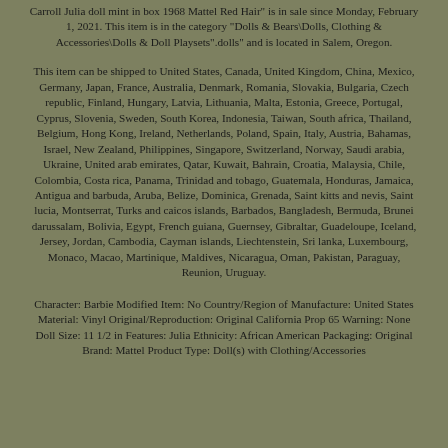Carroll Julia doll mint in box 1968 Mattel Red Hair" is in sale since Monday, February 1, 2021. This item is in the category "Dolls & Bears\Dolls, Clothing & Accessories\Dolls & Doll Playsets".dolls" and is located in Salem, Oregon.
This item can be shipped to United States, Canada, United Kingdom, China, Mexico, Germany, Japan, France, Australia, Denmark, Romania, Slovakia, Bulgaria, Czech republic, Finland, Hungary, Latvia, Lithuania, Malta, Estonia, Greece, Portugal, Cyprus, Slovenia, Sweden, South Korea, Indonesia, Taiwan, South africa, Thailand, Belgium, Hong Kong, Ireland, Netherlands, Poland, Spain, Italy, Austria, Bahamas, Israel, New Zealand, Philippines, Singapore, Switzerland, Norway, Saudi arabia, Ukraine, United arab emirates, Qatar, Kuwait, Bahrain, Croatia, Malaysia, Chile, Colombia, Costa rica, Panama, Trinidad and tobago, Guatemala, Honduras, Jamaica, Antigua and barbuda, Aruba, Belize, Dominica, Grenada, Saint kitts and nevis, Saint lucia, Montserrat, Turks and caicos islands, Barbados, Bangladesh, Bermuda, Brunei darussalam, Bolivia, Egypt, French guiana, Guernsey, Gibraltar, Guadeloupe, Iceland, Jersey, Jordan, Cambodia, Cayman islands, Liechtenstein, Sri lanka, Luxembourg, Monaco, Macao, Martinique, Maldives, Nicaragua, Oman, Pakistan, Paraguay, Reunion, Uruguay.
Character: Barbie Modified Item: No Country/Region of Manufacture: United States Material: Vinyl Original/Reproduction: Original California Prop 65 Warning: None Doll Size: 11 1/2 in Features: Julia Ethnicity: African American Packaging: Original Brand: Mattel Product Type: Doll(s) with Clothing/Accessories